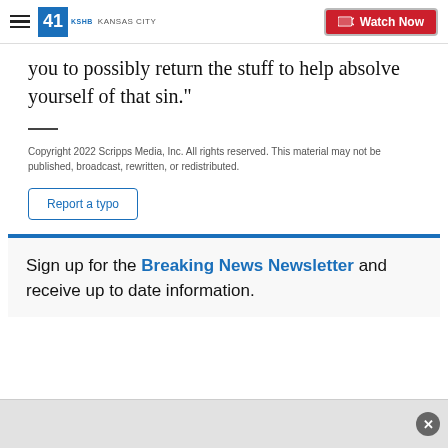41 KSHB KANSAS CITY | Watch Now
you to possibly return the stuff to help absolve yourself of that sin."
Copyright 2022 Scripps Media, Inc. All rights reserved. This material may not be published, broadcast, rewritten, or redistributed.
Report a typo
Sign up for the Breaking News Newsletter and receive up to date information.